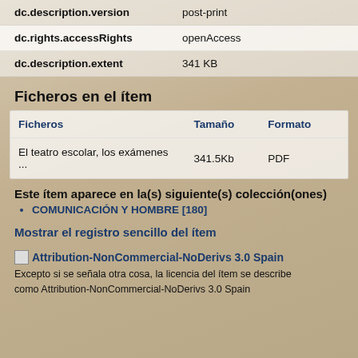| dc.description.version | post-print |
| --- | --- |
| dc.rights.accessRights | openAccess |
| dc.description.extent | 341 KB |
Ficheros en el ítem
| Ficheros | Tamaño | Formato |  |
| --- | --- | --- | --- |
| El teatro escolar, los exámenes ... | 341.5Kb | PDF |  |
Este ítem aparece en la(s) siguiente(s) colección(ones)
COMUNICACIÓN Y HOMBRE [180]
Mostrar el registro sencillo del ítem
[Figure (illustration): Attribution-NonCommercial-NoDerivs 3.0 Spain license icon]
Excepto si se señala otra cosa, la licencia del ítem se describe como Attribution-NonCommercial-NoDerivs 3.0 Spain